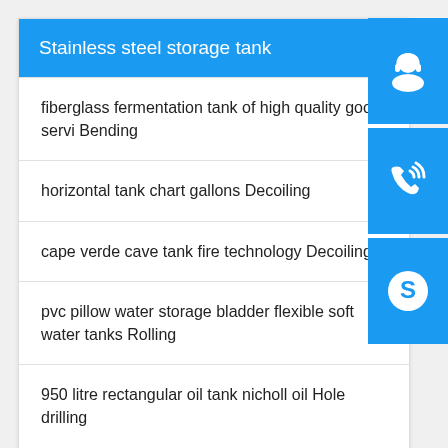Stainless steel storage tank
fiberglass fermentation tank of high quality good servi Bending
horizontal tank chart gallons Decoiling
cape verde cave tank fire technology Decoiling
pvc pillow water storage bladder flexible soft water tanks Rolling
950 litre rectangular oil tank nicholl oil Hole drilling
2 3 4 aluminum alloy acetone flammable liquid fuel tankser Painting